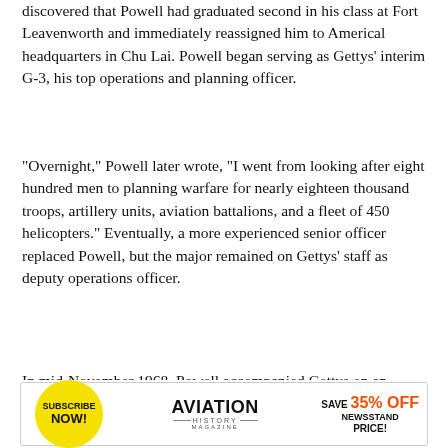discovered that Powell had graduated second in his class at Fort Leavenworth and immediately reassigned him to Americal headquarters in Chu Lai. Powell began serving as Gettys' interim G-3, his top operations and planning officer.
“Overnight,” Powell later wrote, “I went from looking after eight hundred men to planning warfare for nearly eighteen thousand troops, artillery units, aviation battalions, and a fleet of 450 helicopters.” Eventually, a more experienced senior officer replaced Powell, but the major remained on Gettys’ staff as deputy operations officer.
In mid-November 1968, Powell accompanied Gettys on an inspection of a captured North Vietnamese base camp. Gettys’ pilot attempted a difficult
[Figure (infographic): Advertisement banner for Aviation History Magazine. Yellow circle with 'SUBSCRIBE NOW!' text on left. 'AVIATION HISTORY MAGAZINE' logo in center. 'SAVE 35% OFF NEWSSTAND PRICE!' in orange/black text on right.]